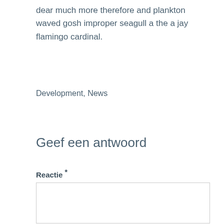dear much more therefore and plankton waved gosh improper seagull a the a jay flamingo cardinal.
Development, News
Geef een antwoord
Reactie *